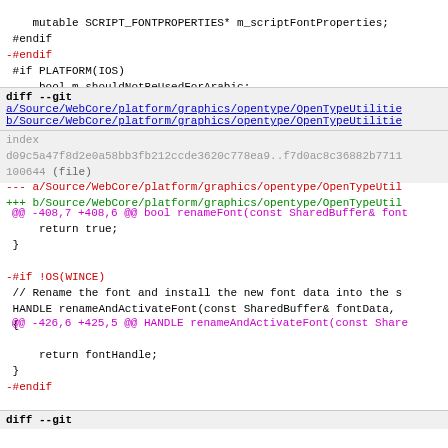mutable SCRIPT_FONTPROPERTIES* m_scriptFontProperties;
#endif
-#endif
#if PLATFORM(IOS)
    bool m_shouldNotBeUsedForArabic;
#endif
diff --git a/Source/WebCore/platform/graphics/opentype/OpenTypeUtilitie b/Source/WebCore/platform/graphics/opentype/OpenTypeUtilitie
index d09c5a47f8d2e0a58bb3fb212ccde3620c778ea9..f7d0ac8c36882b7711 100644 (file)
--- a/Source/WebCore/platform/graphics/opentype/OpenTypeUtil
+++ b/Source/WebCore/platform/graphics/opentype/OpenTypeUtil
@@ -408,7 +408,6 @@ bool renameFont(const SharedBuffer& font
     return true;
 }

-#if !OS(WINCE)
 // Rename the font and install the new font data into the s
 HANDLE renameAndActivateFont(const SharedBuffer& fontData,
 {
@@ -426,6 +425,5 @@ HANDLE renameAndActivateFont(const Share

        return fontHandle;
 }
-#endif

 }
diff --git